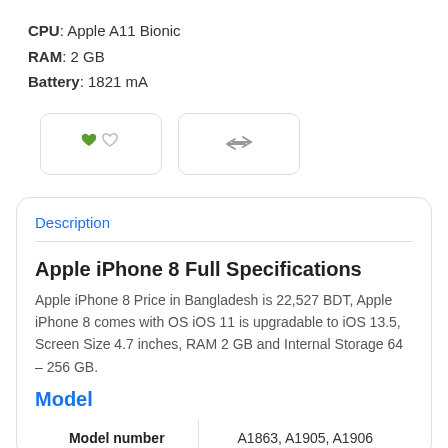CPU: Apple A11 Bionic
RAM: 2 GB
Battery: 1821 mA
[Figure (other): Two UI buttons: a favorites/heart button (filled green heart and outline heart icons) and a compare button (left-right arrows icon)]
Description
Apple iPhone 8 Full Specifications
Apple iPhone 8 Price in Bangladesh is 22,527 BDT, Apple iPhone 8 comes with OS iOS 11 is upgradable to iOS 13.5, Screen Size 4.7 inches, RAM 2 GB and Internal Storage 64 – 256 GB.
Model
| Model number |  |
| --- | --- |
| Model number | A1863, A1905, A1906 |